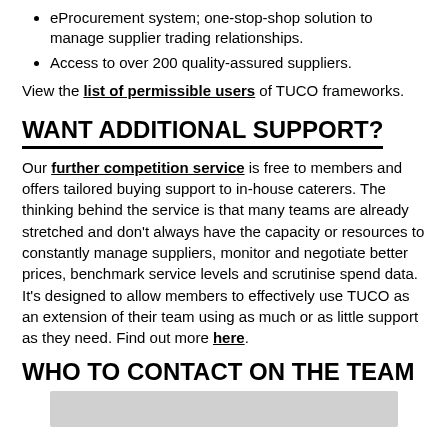eProcurement system; one-stop-shop solution to manage supplier trading relationships.
Access to over 200 quality-assured suppliers.
View the list of permissible users of TUCO frameworks.
WANT ADDITIONAL SUPPORT?
Our further competition service is free to members and offers tailored buying support to in-house caterers. The thinking behind the service is that many teams are already stretched and don't always have the capacity or resources to constantly manage suppliers, monitor and negotiate better prices, benchmark service levels and scrutinise spend data. It's designed to allow members to effectively use TUCO as an extension of their team using as much or as little support as they need. Find out more here.
WHO TO CONTACT ON THE TEAM
[Figure (photo): Grey bar placeholder image at bottom of page]